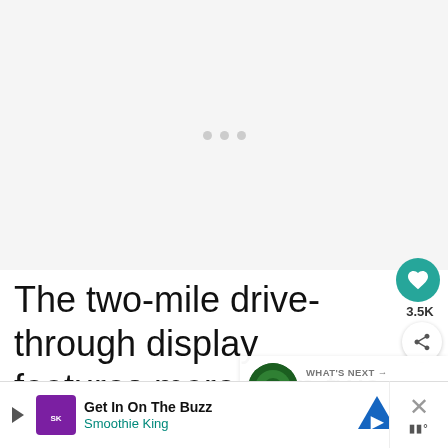[Figure (photo): Large image loading placeholder with grey background and three small loading dots in the center]
The two-mile drive-through display features more than two million and is said to have more than 600 dif... fr...
[Figure (infographic): WHAT'S NEXT button with thumbnail image and text: 11 Festive Spots to See...]
[Figure (infographic): Advertisement bar: Get In On The Buzz - Smoothie King, with play icon, logo, navigation arrow icon, and close button]